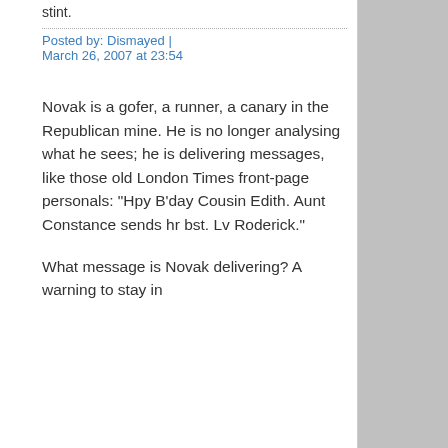stint.
Posted by: Dismayed | March 26, 2007 at 23:54
Novak is a gofer, a runner, a canary in the Republican mine. He is no longer analysing what he sees; he is delivering messages, like those old London Times front-page personals: "Hpy B'day Cousin Edith. Aunt Constance sends hr bst. Lv Roderick."
What message is Novak delivering? A warning to stay in